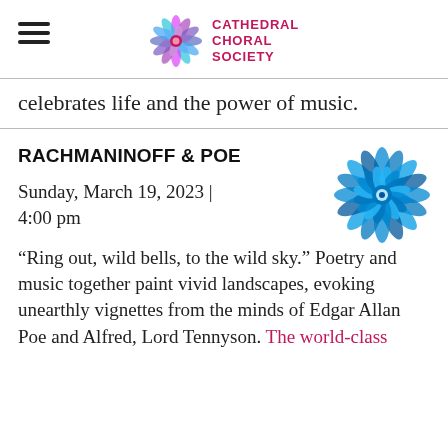CATHEDRAL CHORAL SOCIETY
celebrates life and the power of music.
RACHMANINOFF & POE
[Figure (illustration): Decorative blue floral rosette pattern similar to a cathedral rose window, rendered in shades of blue and teal.]
Sunday, March 19, 2023 | 4:00 pm
“Ring out, wild bells, to the wild sky.” Poetry and music together paint vivid landscapes, evoking unearthly vignettes from the minds of Edgar Allan Poe and Alfred, Lord Tennyson. The world-class